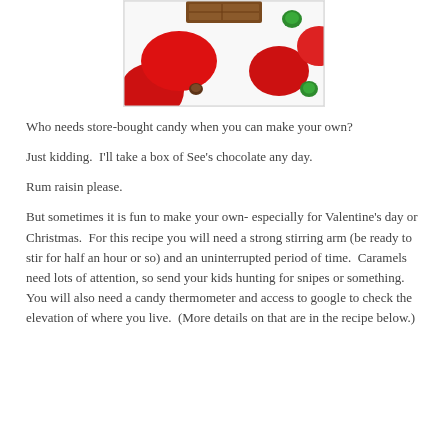[Figure (photo): Photo showing red paper hearts and green M&M candies on a white surface with a chocolate candy bar partially visible at the top]
Who needs store-bought candy when you can make your own?
Just kidding.  I'll take a box of See's chocolate any day.
Rum raisin please.
But sometimes it is fun to make your own- especially for Valentine's day or Christmas.  For this recipe you will need a strong stirring arm (be ready to stir for half an hour or so) and an uninterrupted period of time.  Caramels need lots of attention, so send your kids hunting for snipes or something.  You will also need a candy thermometer and access to google to check the elevation of where you live.  (More details on that are in the recipe below.)